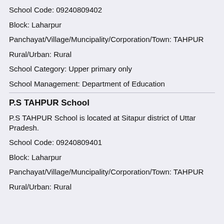School Code: 09240809402
Block: Laharpur
Panchayat/Village/Muncipality/Corporation/Town: TAHPUR
Rural/Urban: Rural
School Category: Upper primary only
School Management: Department of Education
P.S TAHPUR School
P.S TAHPUR School is located at Sitapur district of Uttar Pradesh.
School Code: 09240809401
Block: Laharpur
Panchayat/Village/Muncipality/Corporation/Town: TAHPUR
Rural/Urban: Rural